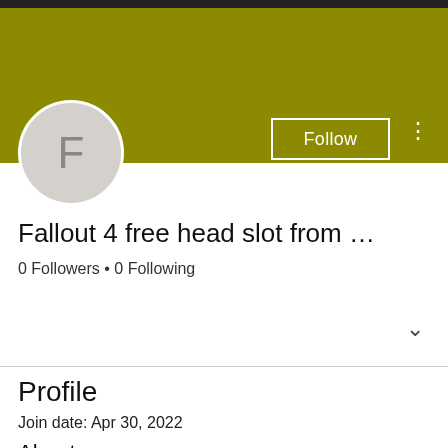[Figure (screenshot): User profile banner with olive/dark yellow background and dark top strip]
[Figure (illustration): Avatar circle with letter F on olive banner background]
Fallout 4 free head slot from …
0 Followers • 0 Following
Profile
Join date: Apr 30, 2022
About
0 Like Received   0 Comment Received